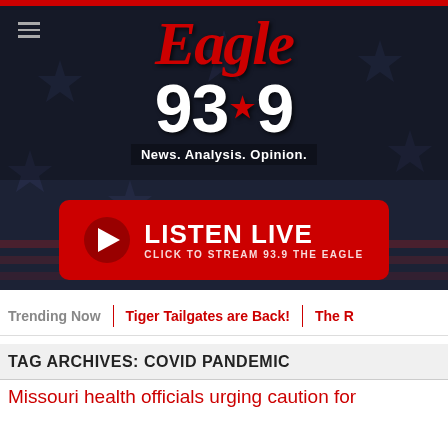[Figure (logo): Eagle 93.9 radio station logo with red 'Eagle' italic text, white '93.9' with red star, and tagline 'News. Analysis. Opinion.' on dark American flag background]
[Figure (other): Red 'LISTEN LIVE' button with play triangle icon and subtitle 'CLICK TO STREAM 93.9 THE EAGLE']
Trending Now | Tiger Tailgates are Back! | The R
TAG ARCHIVES: COVID PANDEMIC
Missouri health officials urging caution for